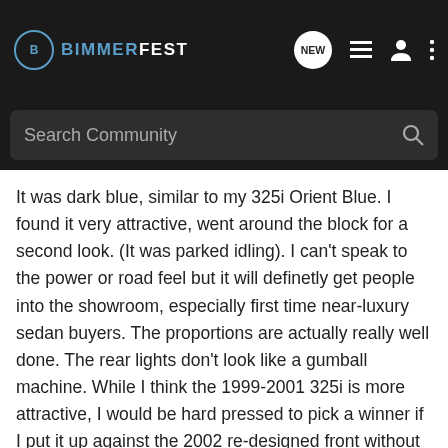BIMMERFEST
It was dark blue, similar to my 325i Orient Blue. I found it very attractive, went around the block for a second look. (It was parked idling). I can't speak to the power or road feel but it will definetly get people into the showroom, especially first time near-luxury sedan buyers. The proportions are actually really well done. The rear lights don't look like a gumball machine. While I think the 1999-2001 325i is more attractive, I would be hard pressed to pick a winner if I put it up against the 2002 re-designed front without the Sport Package.
Now, I'm just speaking of the appearance of the car here because I think that it will, along with the impressive spec sheet, get potential 3 buyers into the Infinity showroom. I do think that there are many "new" cars that have similar looks (i.e. the Lexus ES300, the Cadillac CTS) and that will make the